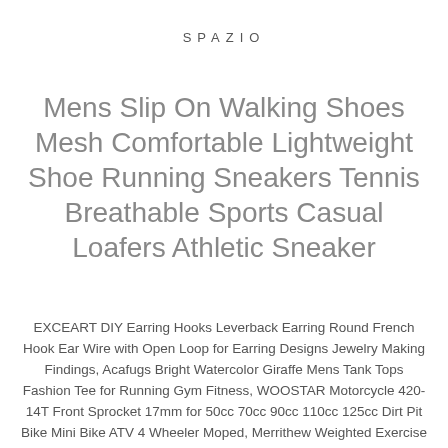SPAZIO
Mens Slip On Walking Shoes Mesh Comfortable Lightweight Shoe Running Sneakers Tennis Breathable Sports Casual Loafers Athletic Sneaker
EXCEART DIY Earring Hooks Leverback Earring Round French Hook Ear Wire with Open Loop for Earring Designs Jewelry Making Findings, Acafugs Bright Watercolor Giraffe Mens Tank Tops Fashion Tee for Running Gym Fitness, WOOSTAR Motorcycle 420-14T Front Sprocket 17mm for 50cc 70cc 90cc 110cc 125cc Dirt Pit Bike Mini Bike ATV 4 Wheeler Moped, Merrithew Weighted Exercise Hoop, Astromania T-Ring for Canon EOS, 2021 W2 6 Part